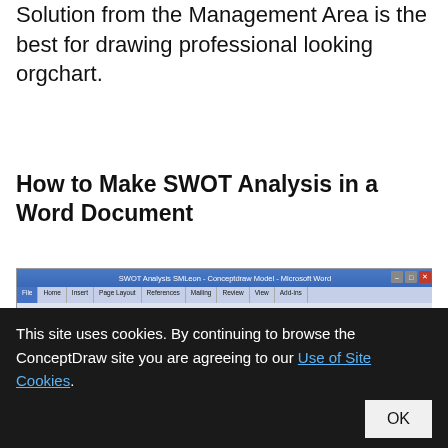Solution from the Management Area is the best for drawing professional looking orgchart.
How to Make SWOT Analysis in a Word Document
[Figure (screenshot): Screenshot of Microsoft Word showing a SWOT Analysis document titled 'SWOT Analysis: Social Media Marketing' with a Weaknesses section listing: 1. Cross-channel support, 2. Lack of social media marketing experience, 3. Our site]
This site uses cookies. By continuing to browse the ConceptDraw site you are agreeing to our Use of Site Cookies.